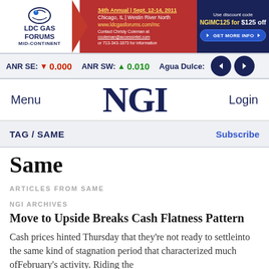[Figure (other): LDC Gas Forums Mid-Continent banner advertisement. 34th Annual Sept 12-14, 2011. Chicago, IL | Westin River North. www.ldcgasforums.com/mc. Contact Christy Coleman at ccoleman@accessintel.com or 713-343-1873 for information. Use discount code NGIMC125 for $125 off. GET MORE INFO button.]
ANR SE: ▼ 0.000   ANR SW: ▲ 0.010   Agua Dulce: < >
Menu  NGI  Login
TAG / SAME  Subscribe
Same
ARTICLES FROM SAME
NGI ARCHIVES
Move to Upside Breaks Cash Flatness Pattern
Cash prices hinted Thursday that they're not ready to settleinto the same kind of stagnation period that characterized much ofFebruary's activity. Riding the